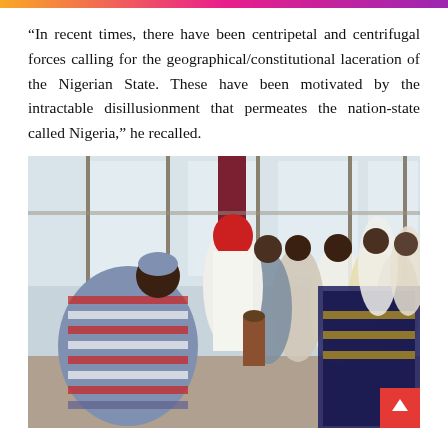“In recent times, there have been centripetal and centrifugal forces calling for the geographical/constitutional laceration of the Nigerian State. These have been motivated by the intractable disillusionment that permeates the nation-state called Nigeria,” he recalled.
[Figure (photo): Group of people in traditional Nigerian attire gathered in a modern hall with large windows. A man in white with a red head covering plays a drum in the center. Others dressed in colorful traditional garments surround him.]